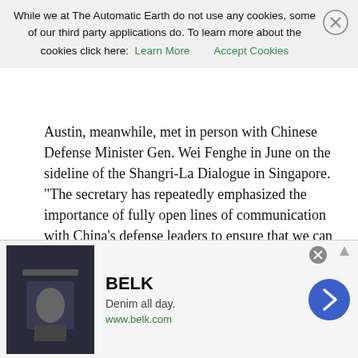While we at The Automatic Earth do not use any cookies, some of our third party applications do. To learn more about the cookies click here:  Learn More   Accept Cookies
Austin, meanwhile, met in person with Chinese Defense Minister Gen. Wei Fenghe in June on the sideline of the Shangri-La Dialogue in Singapore. "The secretary has repeatedly emphasized the importance of fully open lines of communication with China's defense leaders to ensure that we can avoid any miscalculations, and that remains true," Todd Breasseale, the Pentagon's acting press secretary, told POLITICO in an email. China on Friday announced that it was halting certain official dialogues between senior-level U.S. military commanders, including the regional commanders, as well as talks on maritime safety. The announcement does not specifically apply to Austin and Milley's counterparts, and officials said they are still open to communication between those leaders.
Read more …
[Figure (other): Advertisement banner for BELK - Denim all day. www.belk.com with a close button and navigation arrow.]